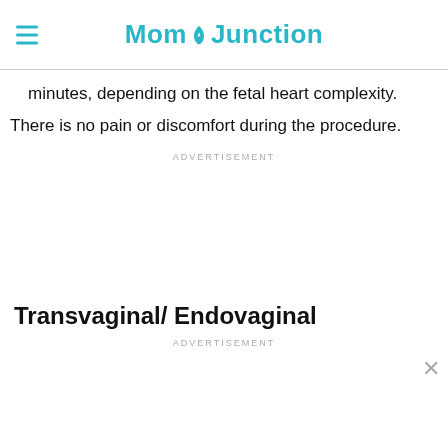MomJunction
minutes, depending on the fetal heart complexity.
There is no pain or discomfort during the procedure.
ADVERTISEMENT
Transvaginal/ Endovaginal
ADVERTISEMENT